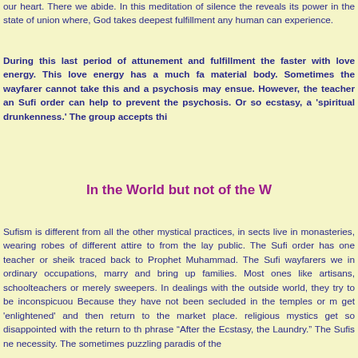our heart. There we abide. In this meditation of silence the reveals its power in the state of union where, God takes deepest fulfillment any human can experience.
During this last period of attunement and fulfillment the faster with love energy. This love energy has a much fa material body. Sometimes the wayfarer cannot take this and a psychosis may ensue. However, the teacher an Sufi order can help to prevent the psychosis. Or so ecstasy, a 'spiritual drunkenness.' The group accepts thi
In the World but not of the W
Sufism is different from all the other mystical practices, in sects live in monasteries, wearing robes of different attire to from the lay public. The Sufi order has one teacher or sheik traced back to Prophet Muhammad. The Sufi wayfarers we in ordinary occupations, marry and bring up families. Most ones like artisans, schoolteachers or merely sweepers. In dealings with the outside world, they try to be inconspicuou Because they have not been secluded in the temples or m get 'enlightened' and then return to the market place. religious mystics get so disappointed with the return to th phrase "After the Ecstasy, the Laundry." The Sufis ne necessity. The sometimes puzzling paradis of the